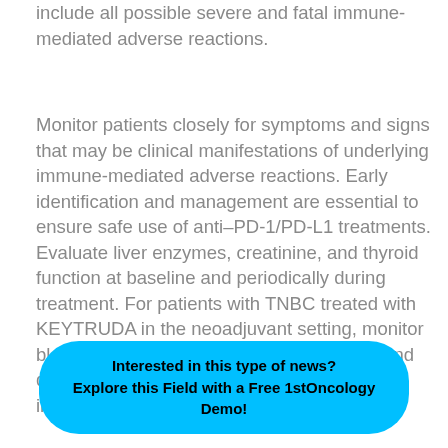include all possible severe and fatal immune-mediated adverse reactions.
Monitor patients closely for symptoms and signs that may be clinical manifestations of underlying immune-mediated adverse reactions. Early identification and management are essential to ensure safe use of anti–PD-1/PD-L1 treatments. Evaluate liver enzymes, creatinine, and thyroid function at baseline and periodically during treatment. For patients with TNBC treated with KEYTRUDA in the neoadjuvant setting, monitor blood cortisol at baseline, prior to surgery, and … immune-mediated adverse reactions, initiate appropriate
Interested in this type of news?
Explore this Field with a Free 1stOncology Demo!